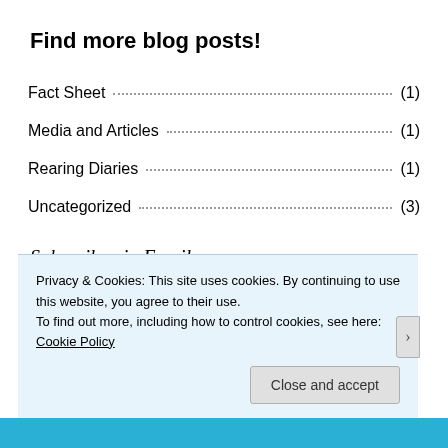Find more blog posts!
Fact Sheet (1)
Media and Articles (1)
Rearing Diaries (1)
Uncategorized (3)
Subscribe via Email
Enter your email to subscribe to this blog and receive notifications of new posts by email :)
Privacy & Cookies: This site uses cookies. By continuing to use this website, you agree to their use.
To find out more, including how to control cookies, see here: Cookie Policy